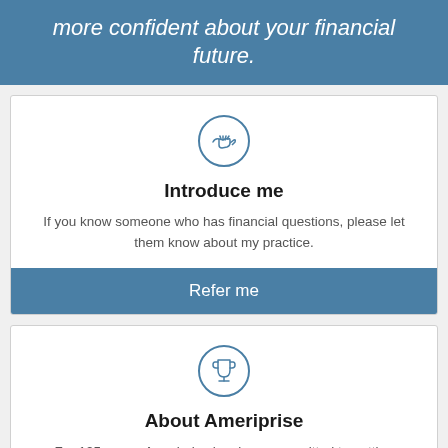more confident about your financial future.
Introduce me
If you know someone who has financial questions, please let them know about my practice.
Refer me
About Ameriprise
For 125 years, Ameriprise has been committed to putting clients' needs first.